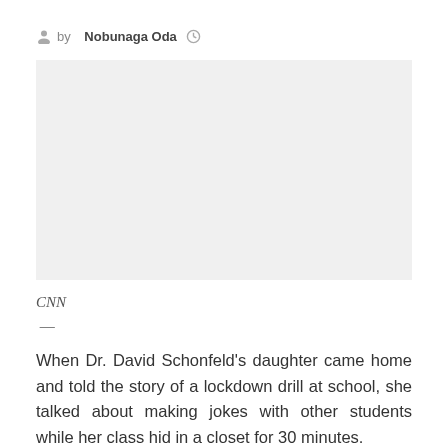by Nobunaga Oda
[Figure (photo): Image placeholder area (photo not visible in crop)]
CNN —
When Dr. David Schonfeld's daughter came home and told the story of a lockdown drill at school, she talked about making jokes with other students while her class hid in a closet for 30 minutes.